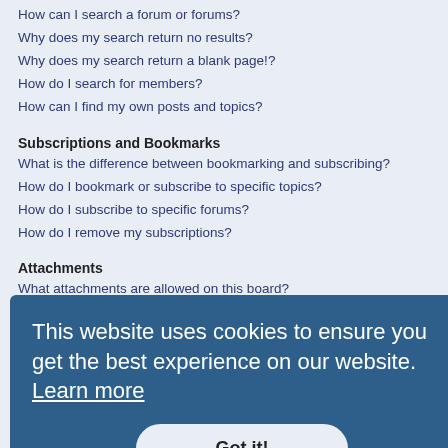How can I search a forum or forums?
Why does my search return no results?
Why does my search return a blank page!?
How do I search for members?
How can I find my own posts and topics?
Subscriptions and Bookmarks
What is the difference between bookmarking and subscribing?
How do I bookmark or subscribe to specific topics?
How do I subscribe to specific forums?
How do I remove my subscriptions?
Attachments
What attachments are allowed on this board?
How do I find all my attachments?
phpBB Issues
Who wrote this bulletin board?
Why isn't X feature available?
Who do I contact about abusive and/or legal matters related to this board?
How do I contact a board administrator?
[Figure (screenshot): Cookie consent banner overlay with text 'This website uses cookies to ensure you get the best experience on our website. Learn more' and a 'Got it!' button]
Login and Registration Issues
Why do I need to register?
You may not have to, it is up to the administrator of the board as to whether you